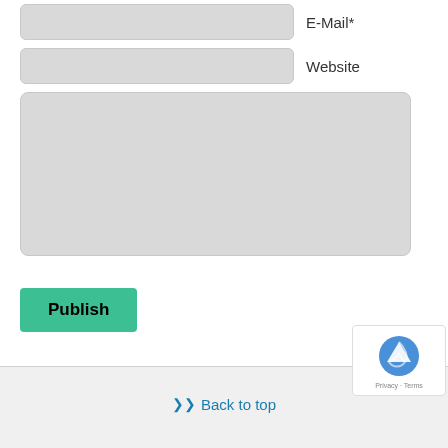[Figure (screenshot): Form input field for E-Mail with label 'E-Mail*']
[Figure (screenshot): Form input field for Website with label 'Website']
[Figure (screenshot): Large textarea for comment/message input]
Publish
Back to top
Mobile
Desktop
Powered by
WRtouch Mobile Suite for WordPress